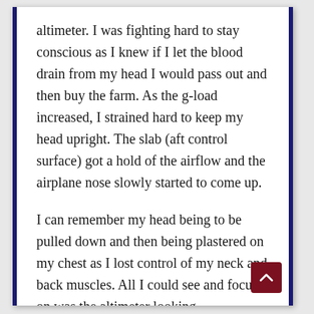altimeter. I was fighting hard to stay conscious as I knew if I let the blood drain from my head I would pass out and then buy the farm. As the g-load increased, I strained hard to keep my head upright. The slab (aft control surface) got a hold of the airflow and the airplane nose slowly started to come up.
I can remember my head being to be pulled down and then being plastered on my chest as I lost control of my neck and back muscles. All I could see and focus on was the altimeter looking